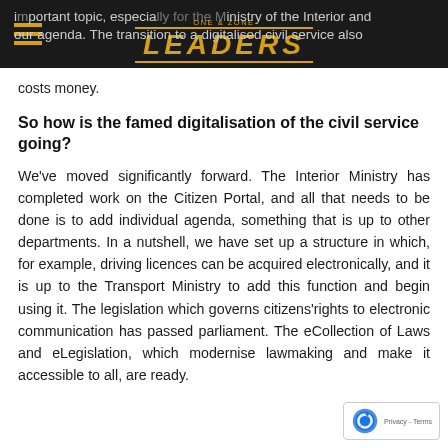LEADERS
important topic, especially for the Ministry of the Interior and our agenda. The transition to a digitalised civil service also costs money.
So how is the famed digitalisation of the civil service going?
We've moved significantly forward. The Interior Ministry has completed work on the Citizen Portal, and all that needs to be done is to add individual agenda, something that is up to other departments. In a nutshell, we have set up a structure in which, for example, driving licences can be acquired electronically, and it is up to the Transport Ministry to add this function and begin using it. The legislation which governs citizens'rights to electronic communication has passed parliament. The eCollection of Laws and eLegislation, which modernise lawmaking and make it accessible to all, are ready.